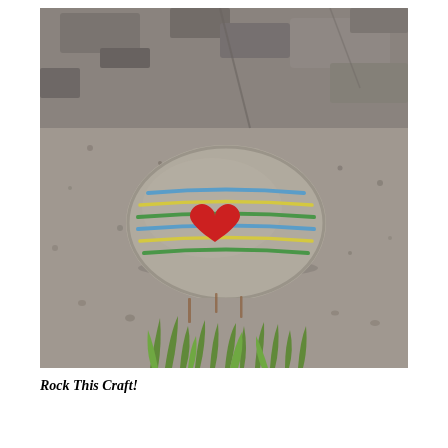[Figure (photo): A painted rock sitting on dirt and gravel ground with a small patch of green grass at the bottom. The rock is oval/rounded and painted grey with horizontal stripes in blue, green, and yellow, and a red heart painted in the center.]
Rock This Craft!